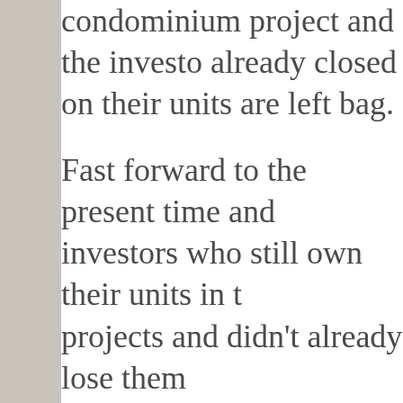condominium project and the investors who already closed on their units are left holding the bag.
Fast forward to the present time and investors who still own their units in these projects and didn't already lose them to foreclosure are starting to see a way out of an investment gone wrong. It is through the deconversion process pursuant to the Condominium Property Act (765 ILCS 605/1 et seq.; the Act) and if you've paid much attention to the local real estate markets lately, you've probably noticed such deconversion...